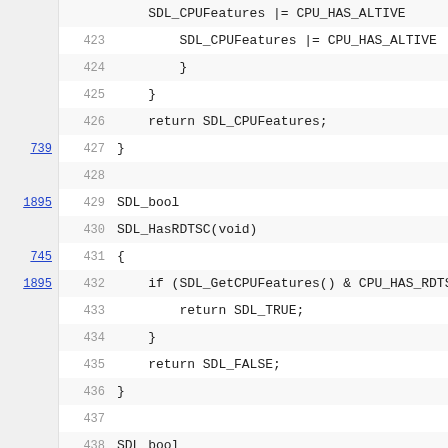[Figure (screenshot): Source code viewer showing C code lines 423-444 of SDL CPU feature detection functions. Left column shows reference numbers (739, 1895, 745, 1895), middle column shows line numbers, right column shows code.]